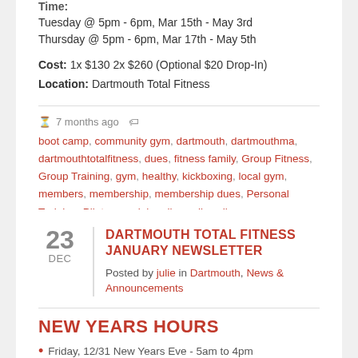Time:
Tuesday @ 5pm - 6pm, Mar 15th - May 3rd
Thursday @ 5pm - 6pm, Mar 17th - May 5th
Cost: 1x $130 2x $260 (Optional $20 Drop-In)
Location: Dartmouth Total Fitness
7 months ago
boot camp, community gym, dartmouth, dartmouthma, dartmouthtotalfitness, dues, fitness family, Group Fitness, Group Training, gym, healthy, kickboxing, local gym, members, membership, membership dues, Personal Training, Pilates, socialmedia, well, wellness, yoga
23 DEC
DARTMOUTH TOTAL FITNESS JANUARY NEWSLETTER
Posted by julie in Dartmouth, News & Announcements
NEW YEARS HOURS
Friday, 12/31 New Years Eve - 5am to 4pm